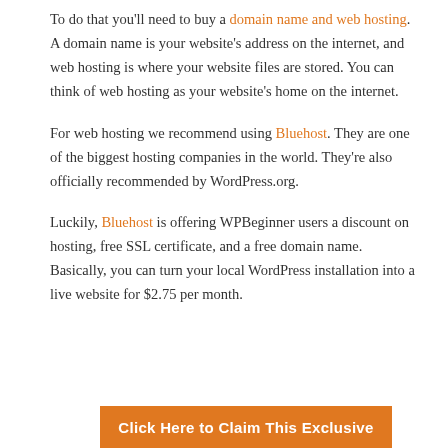To do that you'll need to buy a domain name and web hosting. A domain name is your website's address on the internet, and web hosting is where your website files are stored. You can think of web hosting as your website's home on the internet.
For web hosting we recommend using Bluehost. They are one of the biggest hosting companies in the world. They're also officially recommended by WordPress.org.
Luckily, Bluehost is offering WPBeginner users a discount on hosting, free SSL certificate, and a free domain name. Basically, you can turn your local WordPress installation into a live website for $2.75 per month.
Click Here to Claim This Exclusive